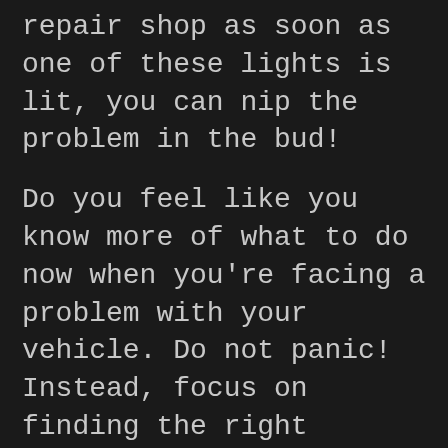repair shop as soon as one of these lights is lit, you can nip the problem in the bud!
Do you feel like you know more of what to do now when you're facing a problem with your vehicle. Do not panic! Instead, focus on finding the right solution based on the tips that have been presented to you in this article. You will find out that you will be successful.